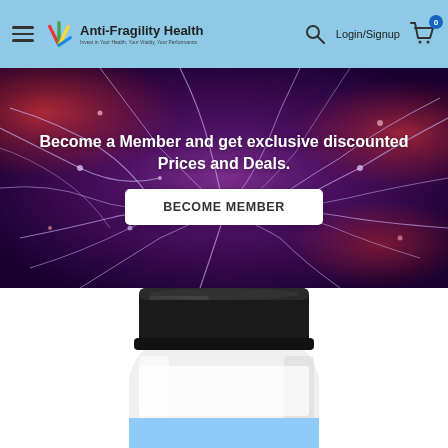Anti-Fragility Health — Invest in Your Health, Your Vitality, Your Performance
[Figure (screenshot): Hero banner with neural/neuron image background in purple and red tones, with text overlay and a BECOME MEMBER button]
Become a Member and get exclusive discounted Prices and Deals.
BECOME MEMBER
[Figure (photo): Supplement bottle with black lid, white body, and blue label visible at bottom — cropped at bottom of page]